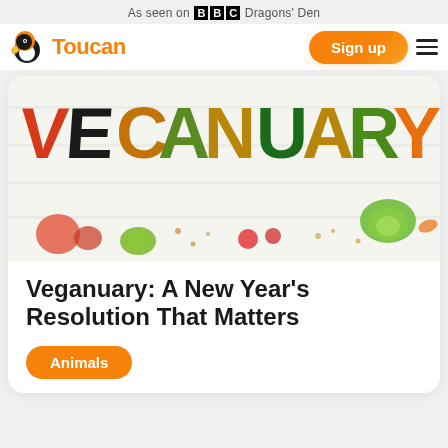As seen on BBC Dragons' Den
[Figure (logo): Toucan logo with orange toucan bird icon and orange 'Toucan' text, with a Sign up button and hamburger menu]
[Figure (photo): Photo of the word 'VEGANUARY' spelled out using various vegetables and plant foods on a white wooden background, with scattered vegetables below]
Veganuary: A New Year's Resolution That Matters
Animals